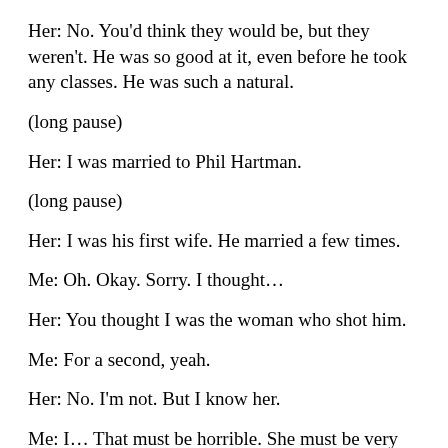Her: No. You'd think they would be, but they weren't. He was so good at it, even before he took any classes. He was such a natural.
(long pause)
Her: I was married to Phil Hartman.
(long pause)
Her: I was his first wife. He married a few times.
Me: Oh. Okay. Sorry. I thought…
Her: You thought I was the woman who shot him.
Me: For a second, yeah.
Her: No. I'm not. But I know her.
Me: I… That must be horrible. She must be very disturbed.